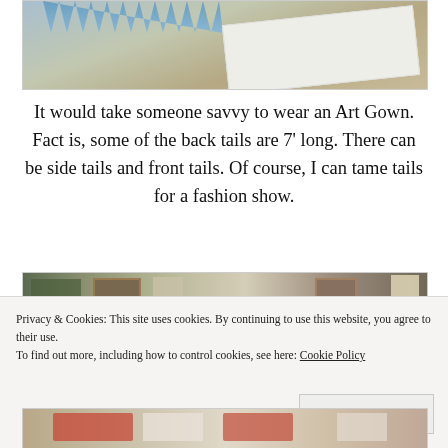[Figure (photo): Top portion of a photo showing a blue fringed fabric/garment and white fabric on a beige/tan floor or surface]
It would take someone savvy to wear an Art Gown. Fact is, some of the back tails are 7' long. There can be side tails and front tails. Of course, I can tame tails for a fashion show.
[Figure (photo): Interior room photo showing framed artwork on walls, plants, decorative items in a gallery-like setting]
Privacy & Cookies: This site uses cookies. By continuing to use this website, you agree to their use.
To find out more, including how to control cookies, see here: Cookie Policy
[Figure (photo): Bottom strip of a photo showing decorative fabric or garment with red and white patterns]